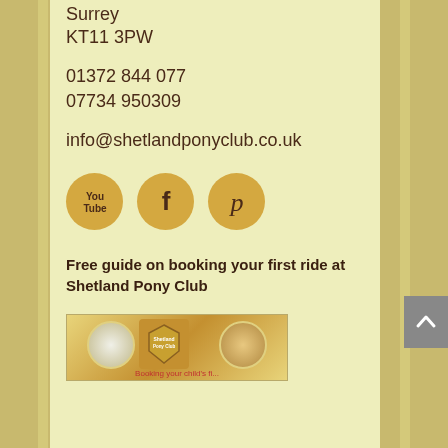Surrey
KT11 3PW
01372 844 077
07734 950309
info@shetlandponyclub.co.uk
[Figure (illustration): Three circular social media icons on golden/tan circles: YouTube (You/Tube text with play icon), Facebook (f letter), Pinterest (p letter)]
Free guide on booking your first ride at Shetland Pony Club
[Figure (photo): Partial view of a booklet/guide cover for Shetland Pony Club showing pony images and the text 'Booking your child's fi...']